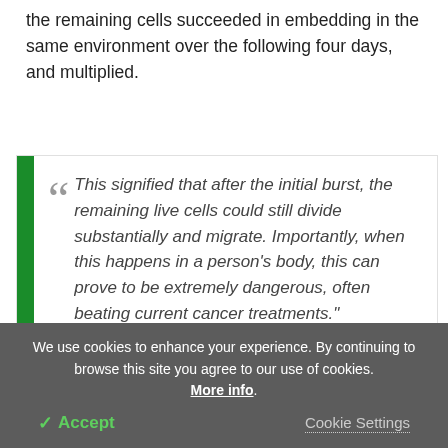the remaining cells succeeded in embedding in the same environment over the following four days, and multiplied.
"This signified that after the initial burst, the remaining live cells could still divide substantially and migrate. Importantly, when this happens in a person's body, this can prove to be extremely dangerous, often beating current cancer treatments."
We use cookies to enhance your experience. By continuing to browse this site you agree to our use of cookies. More info.
✓ Accept    Cookie Settings